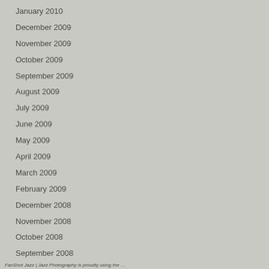January 2010
December 2009
November 2009
October 2009
September 2009
August 2009
July 2009
June 2009
May 2009
April 2009
March 2009
February 2009
December 2008
November 2008
October 2008
September 2008
FanShot Jazz | Jazz Photography is proudly using the …